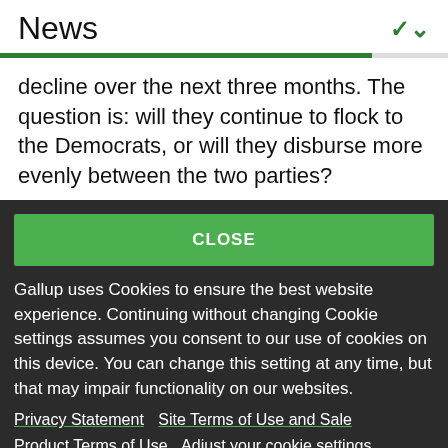News
decline over the next three months. The question is: will they continue to flock to the Democrats, or will they disburse more evenly between the two parties?
CLOSE
Gallup uses Cookies to ensure the best website experience. Continuing without changing Cookie settings assumes you consent to our use of cookies on this device. You can change this setting at any time, but that may impair functionality on our websites.
Privacy Statement   Site Terms of Use and Sale
Product Terms of Use   Adjust your cookie settings.